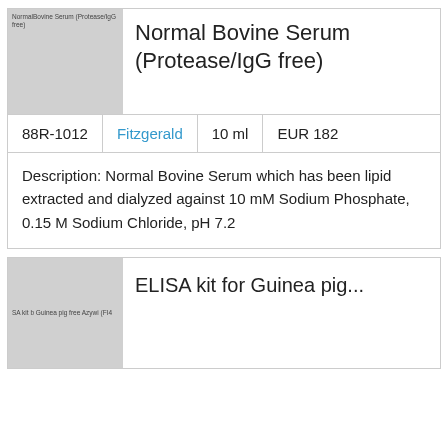[Figure (photo): Product image placeholder for Normal Bovine Serum (Protease/IgG free) with label text]
Normal Bovine Serum (Protease/IgG free)
| 88R-1012 | Fitzgerald | 10 ml | EUR 182 |
| --- | --- | --- | --- |
Description: Normal Bovine Serum which has been lipid extracted and dialyzed against 10 mM Sodium Phosphate, 0.15 M Sodium Chloride, pH 7.2
[Figure (photo): Product image placeholder for ELISA kit for Guinea pig item with label text]
ELISA kit for Guinea pig...